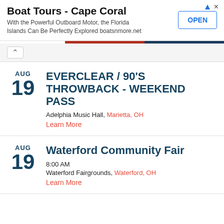[Figure (other): Advertisement banner for Boat Tours - Cape Coral with title, description, and OPEN button]
Boat Tours - Cape Coral
With the Powerful Outboard Motor, the Florida Islands Can Be Perfectly Explored boatsnmore.net
AUG 19 EVERCLEAR / 90'S THROWBACK - WEEKEND PASS
Adel phia Music Hall, Marietta, OH
Learn More
AUG 19 Waterford Community Fair
8:00 AM
Waterford Fairgrounds, Waterford, OH
Learn More